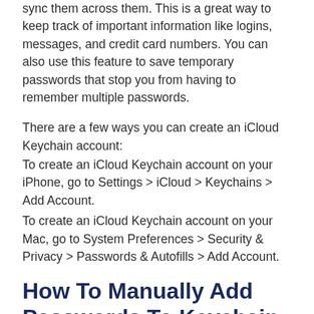sync them across them. This is a great way to keep track of important information like logins, messages, and credit card numbers. You can also use this feature to save temporary passwords that stop you from having to remember multiple passwords.
There are a few ways you can create an iCloud Keychain account:
To create an iCloud Keychain account on your iPhone, go to Settings > iCloud > Keychains > Add Account.
To create an iCloud Keychain account on your Mac, go to System Preferences > Security & Privacy > Passwords & Autofills > Add Account.
How To Manually Add Passwords To Keychain